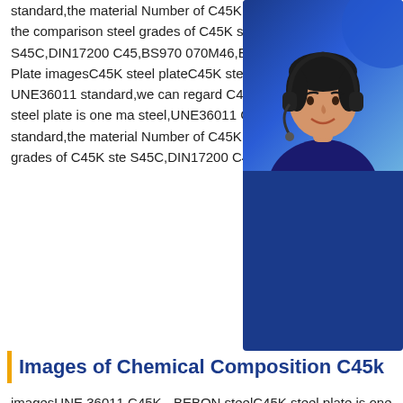standard,the material Number of C45K steel plate is 1.0503 and the comparison steel grades of C45K steel is JIS G 4051 S45C,DIN17200 C45,BS970 070M46,EN Une36011 C45K Steel Plate imagesC45K steel plateC45K steel plate,UNE36011 C UNE36011 standard,we can regard C45K carbon steel..C45K steel plate is one ma steel,UNE36011 C45K steel plate is unde standard,the material Number of C45K s the comparison steel grades of C45K ste S45C,DIN17200 C45,BS970 070M46,EN
[Figure (other): Customer service chat widget with photo of a woman wearing a headset, dark blue background, text: Hello, what can I help you? 7×24 Online, Get Quote button, bsteel1@163.com]
Images of Chemical Composition C45k
imagesUNE 36011 C45K - BEBON steelC45K steel plate is one mainly of high carbon steel,UNE36011 C45K steel plate is under EN 10250-2:1999 standard,the material Number of C45K steel